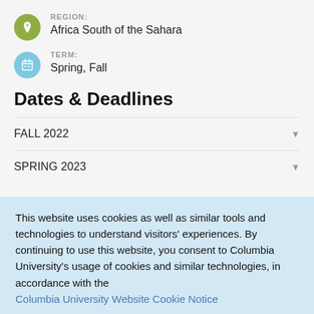REGION: Africa South of the Sahara
TERM: Spring, Fall
Dates & Deadlines
FALL 2022
SPRING 2023
This website uses cookies as well as similar tools and technologies to understand visitors' experiences. By continuing to use this website, you consent to Columbia University's usage of cookies and similar technologies, in accordance with the Columbia University Website Cookie Notice